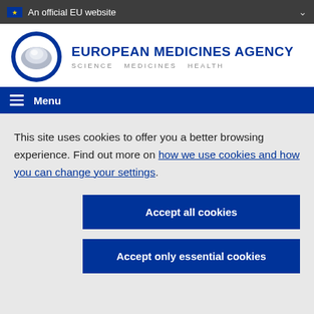An official EU website
[Figure (logo): European Medicines Agency logo with circular emblem and text: EUROPEAN MEDICINES AGENCY SCIENCE MEDICINES HEALTH]
Menu
This site uses cookies to offer you a better browsing experience. Find out more on how we use cookies and how you can change your settings.
Accept all cookies
Accept only essential cookies